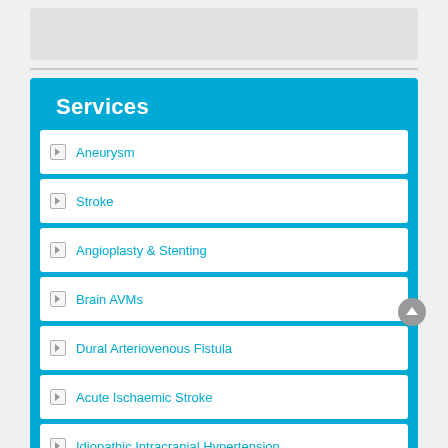Services
Aneurysm
Stroke
Angioplasty & Stenting
Brain AVMs
Dural Arteriovenous Fistula
Acute Ischaemic Stroke
Idiopathic Intracranial Hypertension
Chronic Subdural Haematoma